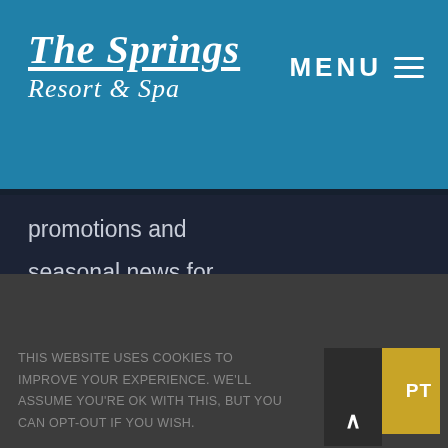The Springs Resort & Spa — MENU
[Figure (logo): The Springs Resort & Spa logo in white italic text on teal/blue background, with MENU and hamburger icon on the right]
promotions and seasonal news for Avada Hotel!
[contact-form-7 id="287" title="Newsletter"]
BOOK NOW
THIS WEBSITE USES COOKIES TO IMPROVE YOUR EXPERIENCE. WE'LL ASSUME YOU'RE OK WITH THIS, BUT YOU CAN OPT-OUT IF YOU WISH.
ACCEPT